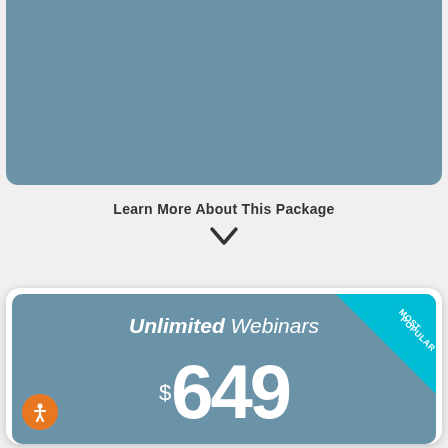[Figure (other): Top teal-blue rounded card section (partial, cropped at top)]
Learn More About This Package
[Figure (other): Chevron down arrow icon]
Unlimited Webinars
$649
BUY NOW
[Figure (other): MOST POPULAR ribbon in top right corner of card]
[Figure (other): Accessibility icon (orange circle with person figure) bottom left]